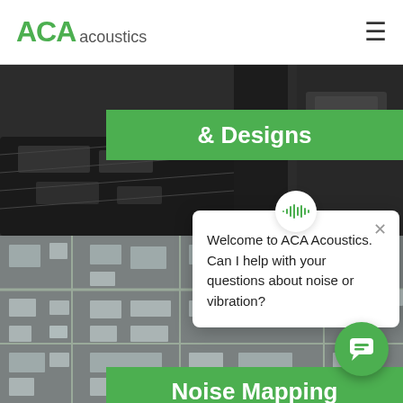[Figure (logo): ACA Acoustics logo — 'ACA' in green bold font, 'acoustics' in grey regular font]
[Figure (screenshot): Website screenshot of ACA Acoustics page showing dark concert hall interior photo, aerial noise mapping photo below, green banners reading '& Designs' and 'Noise Mapping', and a chat popup asking 'Welcome to ACA Acoustics. Can I help with your questions about noise or vibration?']
& Designs
Noise Mapping
Welcome to ACA Acoustics. Can I help with your questions about noise or vibration?